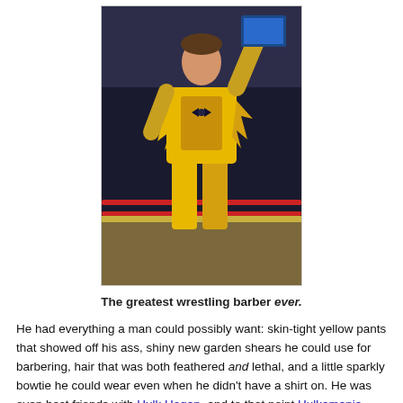[Figure (photo): A wrestler in a torn yellow outfit standing in a wrestling ring with one arm raised, crowd in the background.]
The greatest wrestling barber ever.
He had everything a man could possibly want: skin-tight yellow pants that showed off his ass, shiny new garden shears he could use for barbering, hair that was both feathered and lethal, and a little sparkly bowtie he could wear even when he didn't have a shirt on. He was even best friends with Hulk Hogan, and to that point Hulkamania (which